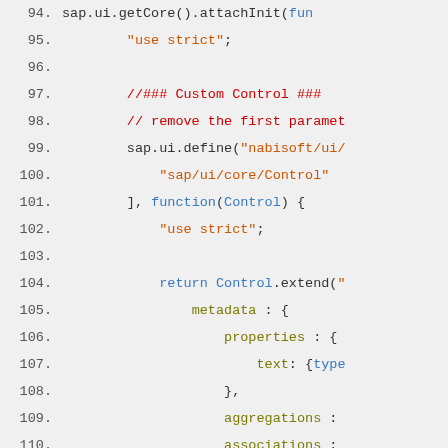[Figure (screenshot): Code editor screenshot showing JavaScript code lines 94-116 with syntax highlighting. Line numbers in gray on left, code with colored tokens: red comments, orange strings, blue keywords, olive property names.]